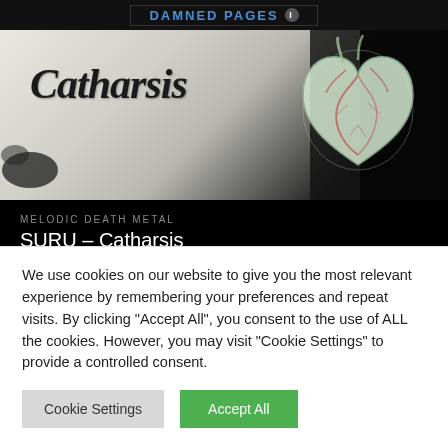[Figure (screenshot): Top navigation banner with 'DAMNED PAGES' logo text in blue on dark background with info icon]
[Figure (illustration): Album artwork for Catharsis by SURU - stylized cursive 'Catharsis' text with anatomical heart illustration on light/dark mixed background]
MELODIC DEATH METAL
SURU – Catharsis
25,00 zł incl. TAX
ADD TO CART
PLN
We use cookies on our website to give you the most relevant experience by remembering your preferences and repeat visits. By clicking "Accept All", you consent to the use of ALL the cookies. However, you may visit "Cookie Settings" to provide a controlled consent.
Cookie Settings
Accept All